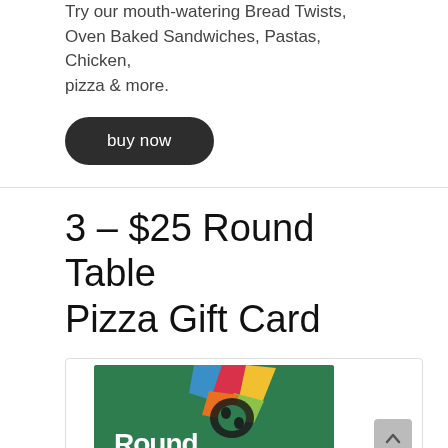Try our mouth-watering Bread Twists, Oven Baked Sandwiches, Pastas, Chicken, pizza & more.
buy now
3 – $25 Round Table Pizza Gift Card
[Figure (logo): Round Table Pizza logo with colorful triangular shapes on a green background, partially visible]